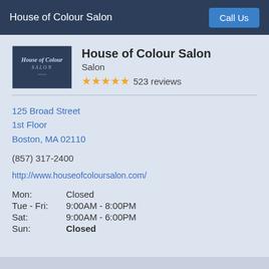House of Colour Salon | Call Us
House of Colour Salon
Salon
★★★★★ 523 reviews
125 Broad Street
1st Floor
Boston, MA 02110
(857) 317-2400
http://www.houseofcoloursalon.com/
| Day | Hours |
| --- | --- |
| Mon: | Closed |
| Tue - Fri: | 9:00AM - 8:00PM |
| Sat: | 9:00AM - 6:00PM |
| Sun: | Closed |